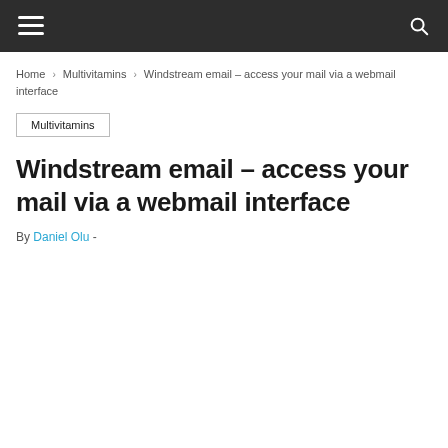Navigation bar with hamburger menu and search icon
Home › Multivitamins › Windstream email – access your mail via a webmail interface
Multivitamins
Windstream email – access your mail via a webmail interface
By Daniel Olu -